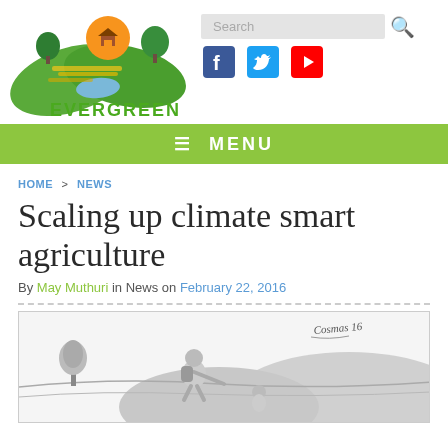[Figure (logo): Evergreen logo with green leaves, farmland, orange sun, house, and EVERGREEN text in green below]
Search [search bar] [Facebook icon] [Twitter icon] [YouTube icon]
≡ MENU
HOME > NEWS
Scaling up climate smart agriculture
By May Muthuri in News on February 22, 2016
[Figure (illustration): Black and white sketch illustration of a person crouching down farming/planting, with another person, trees and hills in the background. Artist signature visible top right reading 'Cosmas 16']